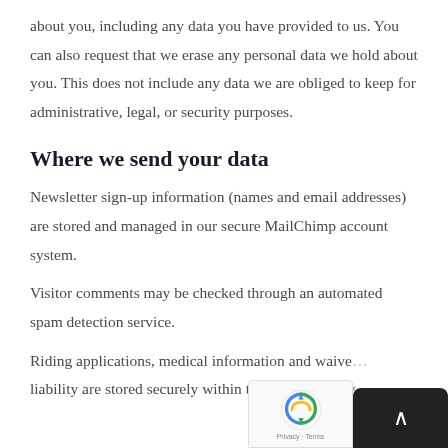about you, including any data you have provided to us. You can also request that we erase any personal data we hold about you. This does not include any data we are obliged to keep for administrative, legal, or security purposes.
Where we send your data
Newsletter sign-up information (names and email addresses) are stored and managed in our secure MailChimp account system.
Visitor comments may be checked through an automated spam detection service.
Riding applications, medical information and waiver of liability are stored securely within this web… and may